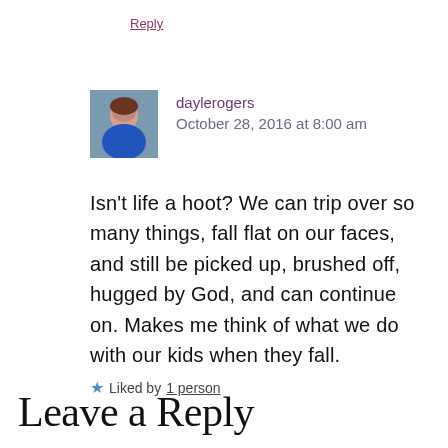Reply
daylerogers
October 28, 2016 at 8:00 am
Isn't life a hoot? We can trip over so many things, fall flat on our faces, and still be picked up, brushed off, hugged by God, and can continue on. Makes me think of what we do with our kids when they fall.
Liked by 1 person
Leave a Reply